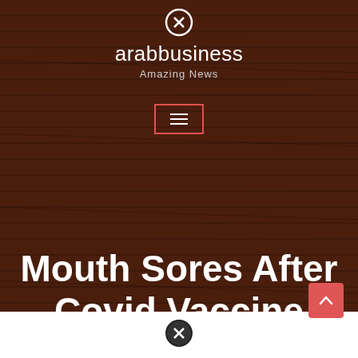[Figure (screenshot): Website header screenshot showing arabbusiness logo with close icon, tagline 'Amazing News', hamburger menu button with red border, wood texture background, and article title 'Mouth Sores After Covid Vaccine Reddit' in white bold text. Bottom section is white with a red scroll-to-top button and a close icon.]
arabbusiness — Amazing News
Mouth Sores After Covid Vaccine Reddit